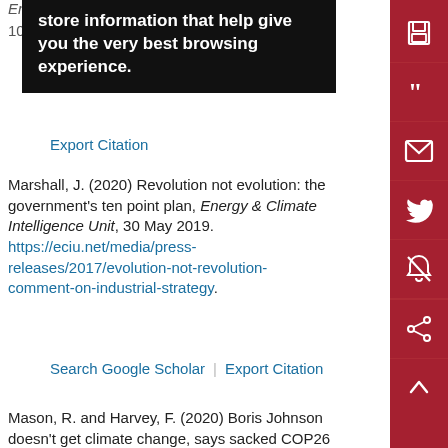[Figure (screenshot): Dark tooltip overlay reading: 'store information that help give you the very best browsing experience.']
Ene... 10.1...
Export Citation
Marshall, J. (2020) Revolution not evolution: the government’s ten point plan, Energy & Climate Intelligence Unit, 30 May 2019. https://eciu.net/media/press-releases/2017/evolution-not-revolution-comment-on-industrial-strategy.
Search Google Scholar | Export Citation
Mason, R. and Harvey, F. (2020) Boris Johnson doesn’t get climate change, says sacked COP26 head, Guardian, 4 February 2020. https://www.theguardian.com/environment/2020/f cop-26-chair-claire-oneill-berates-boris-johnson-over-climate-record.
Search Google Scholar